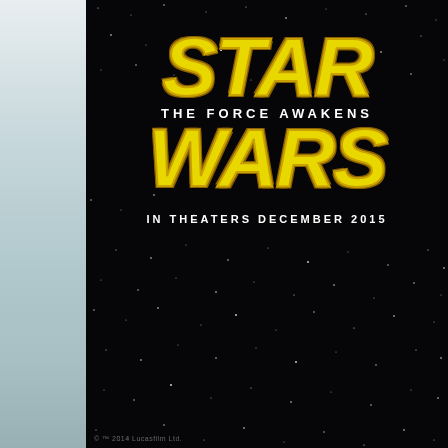[Figure (photo): Star Wars: The Force Awakens movie poster on black starfield background. Large yellow italic 'STAR' text at top, subtitle 'THE FORCE AWAKENS' in white, large yellow italic 'WARS' below, then 'IN THEATERS DECEMBER 2015' in white. Left side shows a blurred gray/blue background panel. Copyright notice at bottom left: © ™ 2014 Lucasfilm Ltd.]